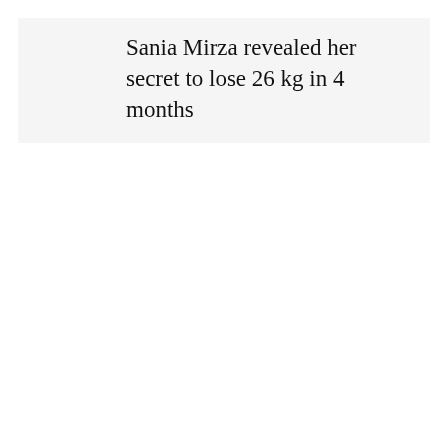Sania Mirza revealed her secret to lose 26 kg in 4 months